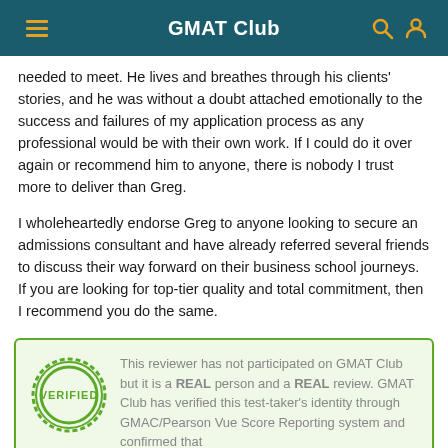GMAT Club
needed to meet. He lives and breathes through his clients' stories, and he was without a doubt attached emotionally to the success and failures of my application process as any professional would be with their own work. If I could do it over again or recommend him to anyone, there is nobody I trust more to deliver than Greg.
I wholeheartedly endorse Greg to anyone looking to secure an admissions consultant and have already referred several friends to discuss their way forward on their business school journeys. If you are looking for top-tier quality and total commitment, then I recommend you do the same.
This reviewer has not participated on GMAT Club but it is a REAL person and a REAL review. GMAT Club has verified this test-taker's identity through GMAC/Pearson Vue Score Reporting system and confirmed that